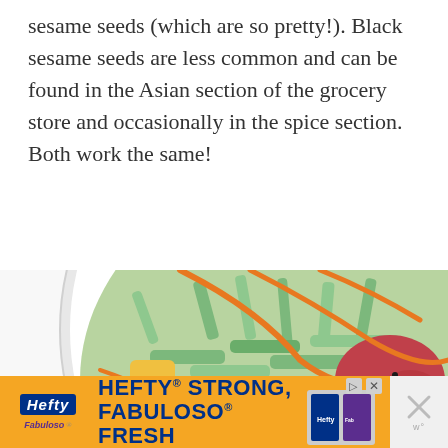sesame seeds (which are so pretty!). Black sesame seeds are less common and can be found in the Asian section of the grocery store and occasionally in the spice section. Both work the same!
[Figure (photo): Close-up photo of a poke bowl with cucumber slices, mango chunks, tuna, and a drizzle of orange spicy sauce, topped with black and white sesame seeds.]
[Figure (photo): Advertisement banner for Hefty Strong and Fabuloso Fresh cleaning products with orange background.]